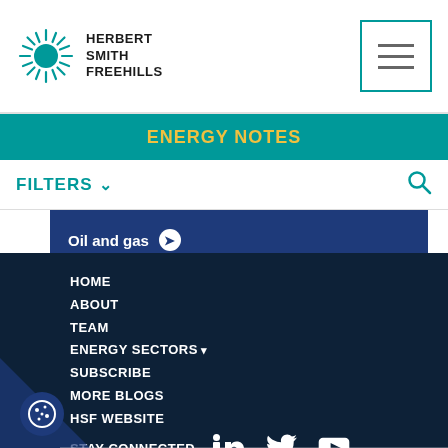HERBERT SMITH FREEHILLS — hamburger menu
ENERGY NOTES
FILTERS
Oil and gas
Power
Renewables
Sectors overview
HOME ABOUT TEAM ENERGY SECTORS SUBSCRIBE MORE BLOGS HSF WEBSITE STAY CONNECTED